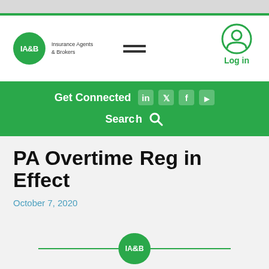IA&B Insurance Agents & Brokers — Log in
Get Connected
Search
PA Overtime Reg in Effect
October 7, 2020
[Figure (logo): IA&B footer logo with horizontal green lines]